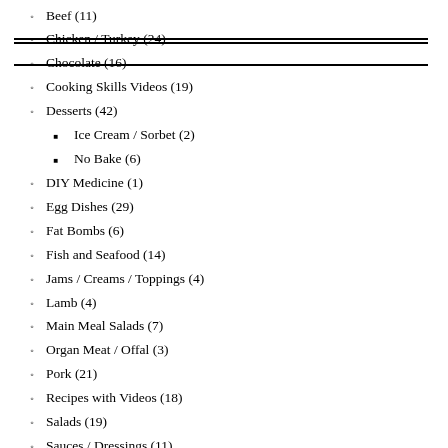Beef (11)
Chicken / Turkey (24)
Chocolate (16)
Cooking Skills Videos (19)
Desserts (42)
Ice Cream / Sorbet (2)
No Bake (6)
DIY Medicine (1)
Egg Dishes (29)
Fat Bombs (6)
Fish and Seafood (14)
Jams / Creams / Toppings (4)
Lamb (4)
Main Meal Salads (7)
Organ Meat / Offal (3)
Pork (21)
Recipes with Videos (18)
Salads (19)
Sauces / Dressings (11)
Sides (19)
Smoothies (4)
Snacks (25)